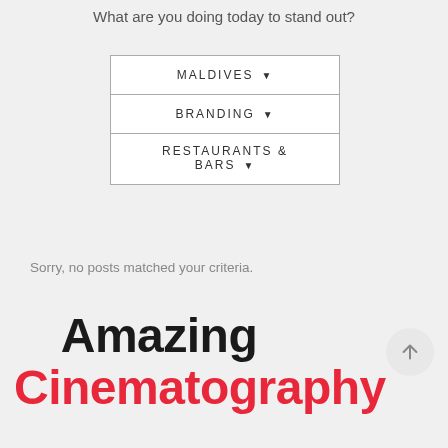What are you doing today to stand out?
[Figure (screenshot): UI dropdown filter showing three selected options: MALDIVES, BRANDING, RESTAURANTS & BARS]
Sorry, no posts matched your criteria.
Amazing Cinematography